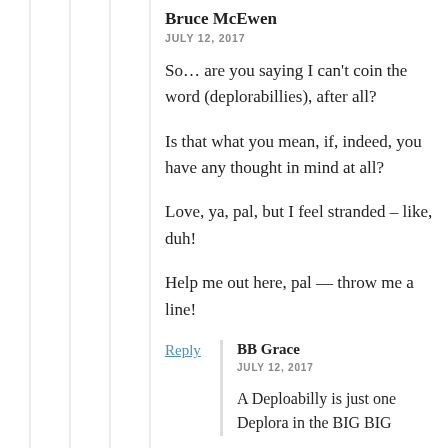Bruce McEwen
JULY 12, 2017
So… are you saying I can't coin the word (deplorabillies), after all?
Is that what you mean, if, indeed, you have any thought in mind at all?
Love, ya, pal, but I feel stranded – like, duh!
Help me out here, pal — throw me a line!
Reply
BB Grace
JULY 12, 2017
A Deploabilly is just one Deplora in the BIG BIG